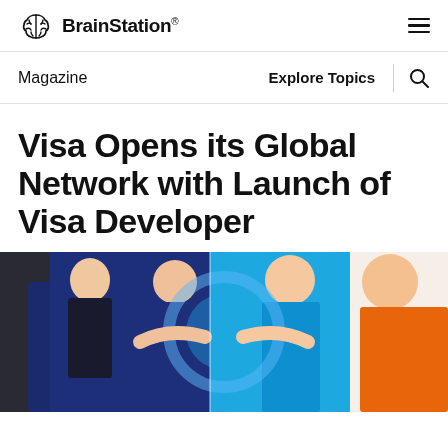BrainStation®
Magazine | Explore Topics
Visa Opens its Global Network with Launch of Visa Developer
[Figure (illustration): Colorful illustrated image showing figures/people with blue, dark blue, orange and white background colors, partially visible as a cropped banner image.]